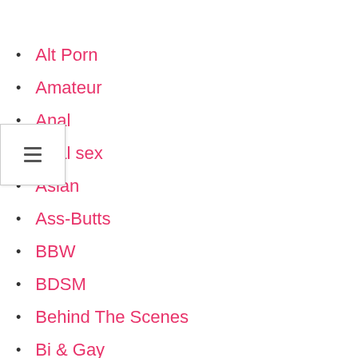Alt Porn
Amateur
Anal
Anal sex
Asian
Ass-Butts
BBW
BDSM
Behind The Scenes
Bi & Gay
Big butt
Big Dick
Big Tits
Bisexual
Black
Black and white
Blonde
Blowjob